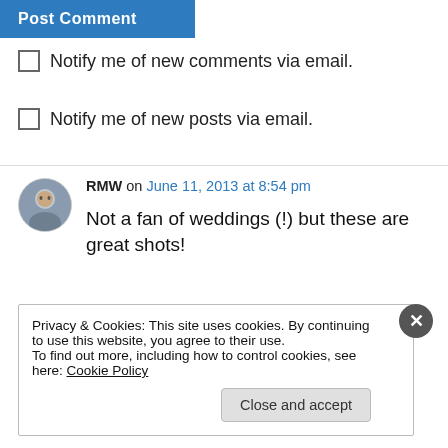[Figure (screenshot): Blue 'Post Comment' button (partially visible at top)]
Notify me of new comments via email.
Notify me of new posts via email.
RMW on June 11, 2013 at 8:54 pm
Not a fan of weddings (!) but these are great shots!
↳ Reply
Privacy & Cookies: This site uses cookies. By continuing to use this website, you agree to their use.
To find out more, including how to control cookies, see here: Cookie Policy
Close and accept